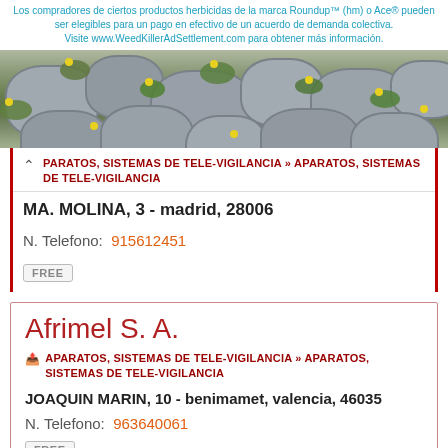[Figure (screenshot): Advertisement banner for WeedKillerAdSettlement.com showing text about eligible buyers and a photo of stone path with green weeds and yellow flowers]
PARATOS, SISTEMAS DE TELE-VIGILANCIA » APARATOS, SISTEMAS DE TELE-VIGILANCIA
MA. MOLINA, 3 - madrid, 28006
N. Telefono:  915612451
FREE
Afrimel S. A.
APARATOS, SISTEMAS DE TELE-VIGILANCIA » APARATOS, SISTEMAS DE TELE-VIGILANCIA
JOAQUIN MARIN, 10 - benimamet, valencia, 46035
N. Telefono:  963640061
FREE